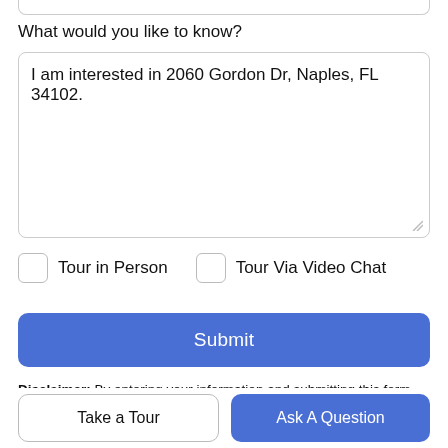What would you like to know?
I am interested in 2060 Gordon Dr, Naples, FL 34102.
Tour in Person
Tour Via Video Chat
Submit
Disclaimer: By entering your information and submitting this form, you agree to our Terms of Use and Privacy Policy and that you may be contacted by phone, text message and email about your inquiry.
Take a Tour
Ask A Question